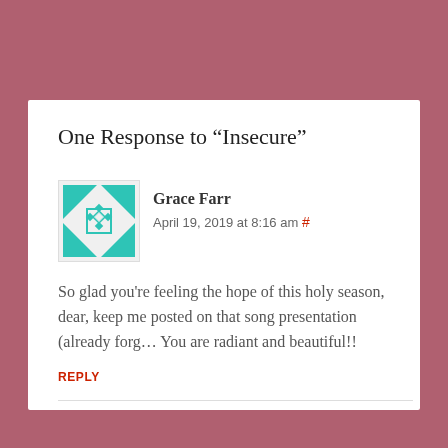One Response to “Insecure”
Grace Farr
April 19, 2019 at 8:16 am #
So glad you're feeling the hope of this holy season, dear, keep me posted on that song presentation (already forg... You are radiant and beautiful!!
REPLY